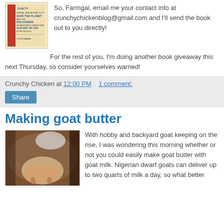[Figure (photo): Book cover showing a red and beige design with text including 'GUILTY LIBERAL WHO ATTEMPTS TO SAVE THE PLANET AND THE DISCOVERIES HE MAKES ABOUT HIMSELF AND OUR WAY OF LIFE IN THE PROCESS' by Colin Beavan]
So, Farmgal, email me your contact info at crunchychickenblog@gmail.com and I'll send the book out to you directly!
For the rest of you, I'm doing another book giveaway this next Thursday, so consider yourselves warned!
Crunchy Chicken at 12:00 PM   1 comment:
Share
Making goat butter
[Figure (photo): Close-up photo of a goat's udder, brown and white fur visible]
With hobby and backyard goat keeping on the rise, I was wondering this morning whether or not you could easily make goat butter with goat milk. Nigerian dwarf goats can deliver up to two quarts of milk a day, so what better